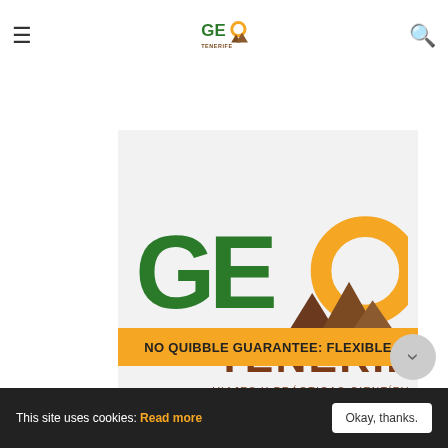the benefit of ABTA's assistance and Code of Conduct. We provide financial protection for your money.
[Figure (logo): GEO Tenerife logo — large green letters GEO with a golden circle and brown mountain silhouettes, text TENERIFE in brown and subtitle VIAJES Y PRÁCTICAS CIENTÍFICAS GEOTENERIFE S.L.]
NO QUIBBLE GUARANTEE: FLEXIBLE
This site uses cookies: Read more
Okay, thanks.